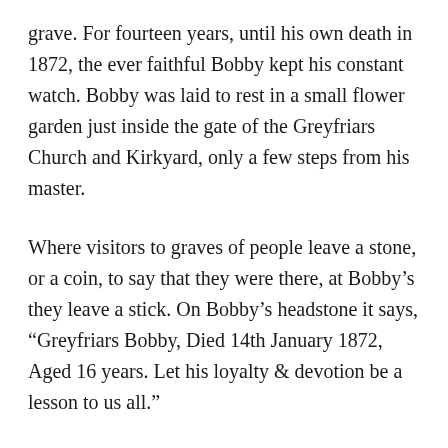grave. For fourteen years, until his own death in 1872, the ever faithful Bobby kept his constant watch. Bobby was laid to rest in a small flower garden just inside the gate of the Greyfriars Church and Kirkyard, only a few steps from his master.
Where visitors to graves of people leave a stone, or a coin, to say that they were there, at Bobby's they leave a stick. On Bobby's headstone it says, “Greyfriars Bobby, Died 14th January 1872, Aged 16 years. Let his loyalty & devotion be a lesson to us all.”